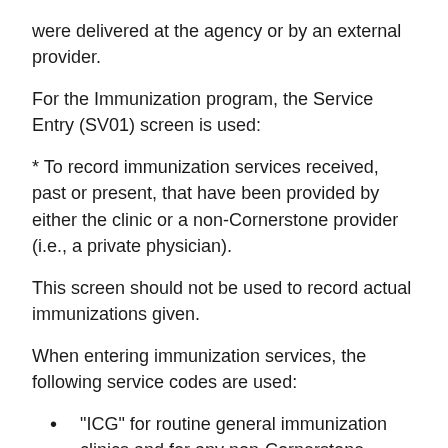were delivered at the agency or by an external provider.
For the Immunization program, the Service Entry (SV01) screen is used:
* To record immunization services received, past or present, that have been provided by either the clinic or a non-Cornerstone provider (i.e., a private physician).
This screen should not be used to record actual immunizations given.
When entering immunization services, the following service codes are used:
"ICG" for routine general immunization clinics and for any non-Cornerstone provider.
"IWCV" for immunizations given in